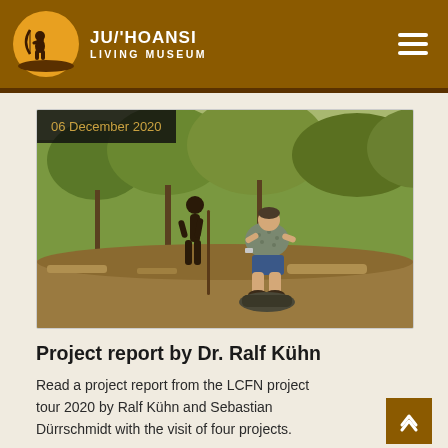JU/'HOANSI LIVING MUSEUM
[Figure (photo): Outdoor photograph showing a man crouching down next to a young child in a dry African bush landscape. The man appears to be examining or working with traditional tools. Lush green trees visible in background. Date badge overlay reads '06 December 2020'.]
Project report by Dr. Ralf Kühn
Read a project report from the LCFN project tour 2020 by Ralf Kühn and Sebastian Dürrschmidt with the visit of four projects.